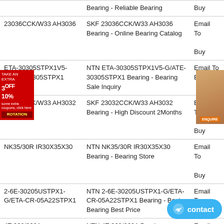| Part Number | Description | Action |
| --- | --- | --- |
|  | Bearing - Reliable Bearing | Buy |
| 23036CCK/W33 AH3036 | SKF 23036CCK/W33 AH3036 Bearing - Online Bearing Catalog | Email To Buy |
| ETA-30305STPX1V5-G/ATE-30305STPX1 | NTN ETA-30305STPX1V5-G/ATE-30305STPX1 Bearing - Bearing Sale Inquiry | Email To Buy |
| 23032CCK/W33 AH3032 | SKF 23032CCK/W33 AH3032 Bearing - High Discount 2Months | Email To Buy |
| NK35/30R IR30X35X30 | NTN NK35/30R IR30X35X30 Bearing - Bearing Store | Email To Buy |
| 2-6E-30205USTPX1-G/ETA-CR-05A22STPX1 | NTN 2-6E-30205USTPX1-G/ETA-CR-05A22STPX1 Bearing - Best Bearing Best Price | Email To Buy |
| 4T-368/362A | NTN 4T-368/362A Bearing - Bearing Marketplace | Email To Buy |
| 23032-E1-K-TVPB H3032 | FAG 23032-E1-K-TVPB H... Bearing - Easy Ordering... | Buy |